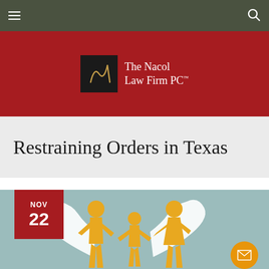☰  The Nacol Law Firm PC™  🔍
[Figure (logo): The Nacol Law Firm PC logo on dark red banner background with stylized N mark in black square]
Restraining Orders in Texas
[Figure (photo): Paper cutout family figures of two adults and a child standing on a broken heart background. Date badge showing NOV 22 in red. Orange envelope icon in bottom right corner.]